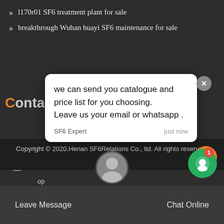l170r01 SF6 treatment plant for sale
breakthrough Wuhan huayi SF6 maintenance for sale
Conta
[Figure (screenshot): Chat popup bubble with message: we can send you catalogue and price list for you choosing. Leave us your email or whatsapp . Sender: SF6 Expert, time: just now. Reply input box with placeholder 'Write a reply..']
[Figure (screenshot): Green circular chat button with notification badge showing 1]
Copyright © 2020.Henan SF6Relations Co., ltd. All rights reserved. Sitemap
Leave Message
Chat Online